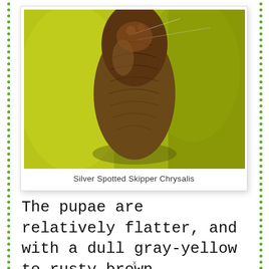[Figure (photo): Close-up macro photograph of a Silver Spotted Skipper Chrysalis, showing a brown/gray chrysalis head against yellow-green leaf background]
Silver Spotted Skipper Chrysalis
The pupae are relatively flatter, and with a dull gray-yellow to rusty brown coloration, that perfectly blends with the